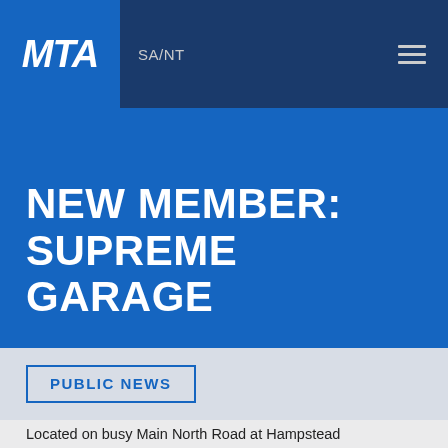MTA SA/NT
NEW MEMBER: SUPREME GARAGE
PUBLIC NEWS
Located on busy Main North Road at Hampstead